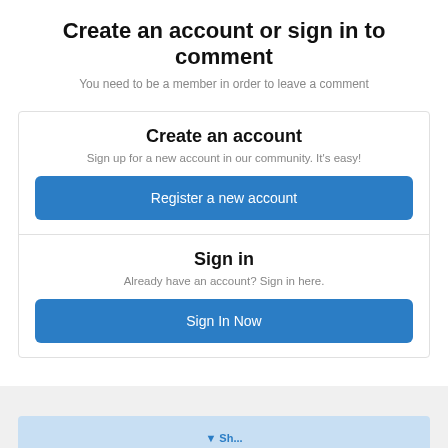Create an account or sign in to comment
You need to be a member in order to leave a comment
Create an account
Sign up for a new account in our community. It's easy!
Register a new account
Sign in
Already have an account? Sign in here.
Sign In Now